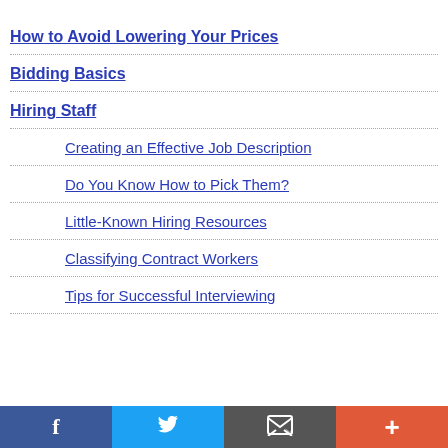How to Avoid Lowering Your Prices
Bidding Basics
Hiring Staff
Creating an Effective Job Description
Do You Know How to Pick Them?
Little-Known Hiring Resources
Classifying Contract Workers
Tips for Successful Interviewing
[Figure (infographic): Social media sharing bar with Facebook, Twitter, email, and plus buttons]